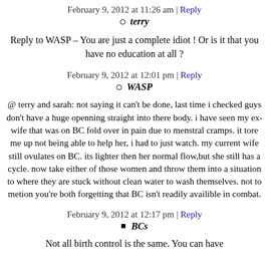February 9, 2012 at 11:26 am | Reply
terry
Reply to WASP – You are just a complete idiot ! Or is it that you have no education at all ?
February 9, 2012 at 12:01 pm | Reply
WASP
@ terry and sarah: not saying it can't be done, last time i checked guys don't have a huge openning straight into there body. i have seen my ex-wife that was on BC fold over in pain due to menstral cramps. it tore me up not being able to help her, i had to just watch. my current wife still ovulates on BC. its lighter then her normal flow,but she still has a cycle. now take either of those women and throw them into a situation to where they are stuck without clean water to wash themselves. not to metion you're both forgetting that BC isn't readily availible in combat.
February 9, 2012 at 12:17 pm | Reply
BCs
Not all birth control is the same. You can have